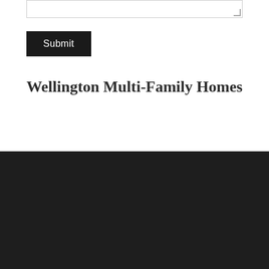[Figure (other): Textarea input box with resize handle at bottom-right corner]
Submit
Wellington Multi-Family Homes
ABOUT
[Figure (photo): Portrait photo of a woman with red hair and bangs against a dark background]
Michelle Gibson of the Hansen Real Estate Group is a full ti...